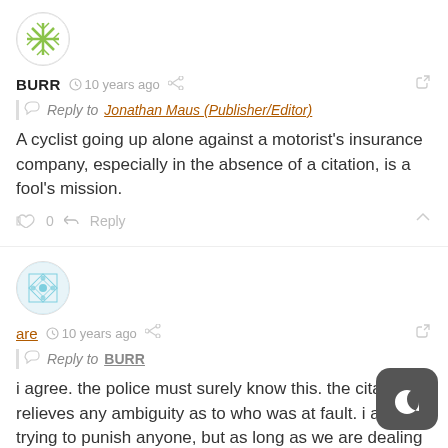[Figure (illustration): Green snowflake avatar icon in a circle]
BURR  10 years ago
Reply to  Jonathan Maus (Publisher/Editor)
A cyclist going up alone against a motorist's insurance company, especially in the absence of a citation, is a fool's mission.
0  Reply
[Figure (illustration): Light blue geometric pattern avatar in a circle]
are  10 years ago
Reply to  BURR
i agree. the police must surely know this. the citation relieves any ambiguity as to who was at fault. i am not trying to punish anyone, but as long as we are dealing with fault and insurance, we